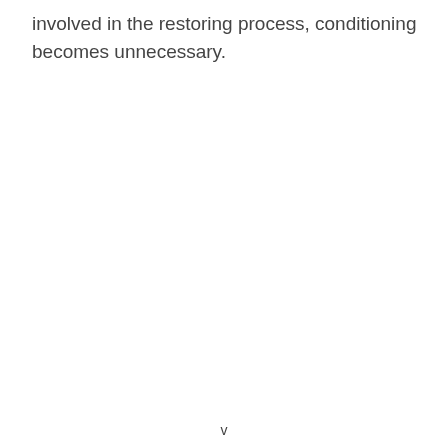involved in the restoring process, conditioning becomes unnecessary.
v